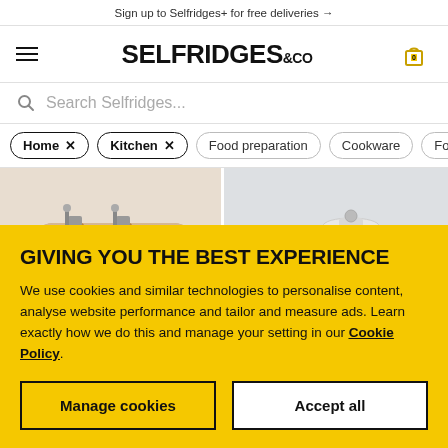Sign up to Selfridges+ for free deliveries →
SELFRIDGES&CO
Search Selfridges...
Home ×
Kitchen ×
Food preparation
Cookware
Fo...
[Figure (photo): Two Smeg kitchen appliances: a gold/champagne Smeg toaster on the left and a white Smeg kettle on the right, both showing the embossed SMEG logo.]
GIVING YOU THE BEST EXPERIENCE
We use cookies and similar technologies to personalise content, analyse website performance and tailor and measure ads. Learn exactly how we do this and manage your setting in our Cookie Policy.
Manage cookies
Accept all